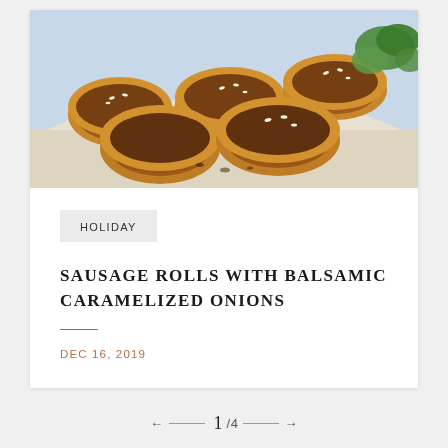[Figure (photo): Close-up photo of golden-brown sausage rolls with sesame seeds on a white plate, with green parsley garnish in background]
HOLIDAY
SAUSAGE ROLLS WITH BALSAMIC CARAMELIZED ONIONS
DEC 16, 2019
← 1 /4 →